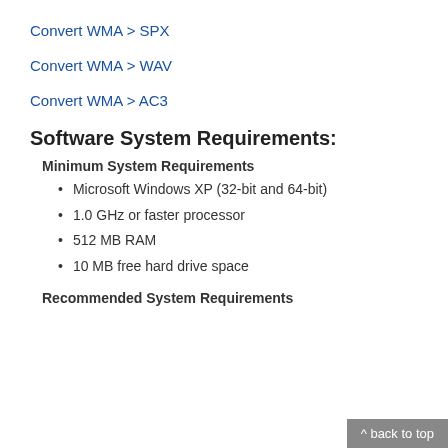Convert WMA > SPX
Convert WMA > WAV
Convert WMA > AC3
Software System Requirements:
Minimum System Requirements
Microsoft Windows XP (32-bit and 64-bit)
1.0 GHz or faster processor
512 MB RAM
10 MB free hard drive space
Recommended System Requirements
^ back to top